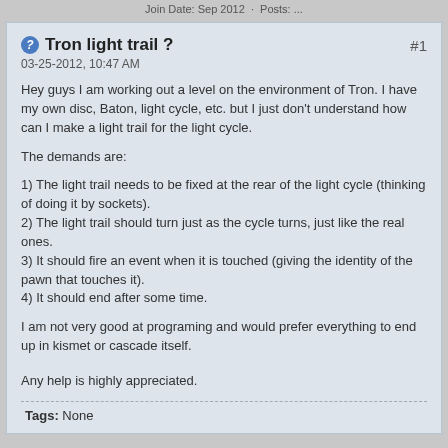Join Date: Sep 2012 · Posts: ...
Tron light trail ?
03-25-2012, 10:47 AM
Hey guys I am working out a level on the environment of Tron. I have my own disc, Baton, light cycle, etc. but I just don't understand how can I make a light trail for the light cycle.
The demands are:
1) The light trail needs to be fixed at the rear of the light cycle (thinking of doing it by sockets).
2) The light trail should turn just as the cycle turns, just like the real ones.
3) It should fire an event when it is touched (giving the identity of the pawn that touches it).
4) It should end after some time.
I am not very good at programing and would prefer everything to end up in kismet or cascade itself.
Any help is highly appreciated.
Tags: None